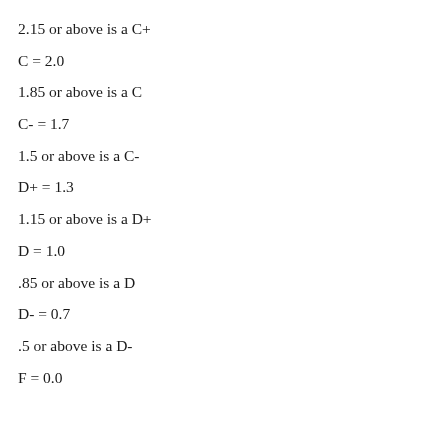2.15 or above is a C+
C = 2.0
1.85 or above is a C
C- = 1.7
1.5 or above is a C-
D+ = 1.3
1.15 or above is a D+
D = 1.0
.85 or above is a D
D- = 0.7
.5 or above is a D-
F = 0.0